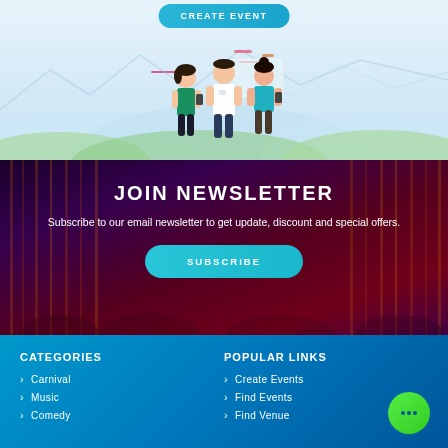[Figure (illustration): Top section with light blue background showing a 'CREATE EVENT' teal button and an illustration of three people (two women and one man) using mobile phones, with abstract mountain/wave shapes in the background]
JOIN NEWSLETTER
Subscribe to our email newsletter to get update, discount and special offers.
SUBSCRIBE
CATEGORIES
POPULAR LINKS
Carnival
Music
Comedy
Create Events
Find Events
Find Venue